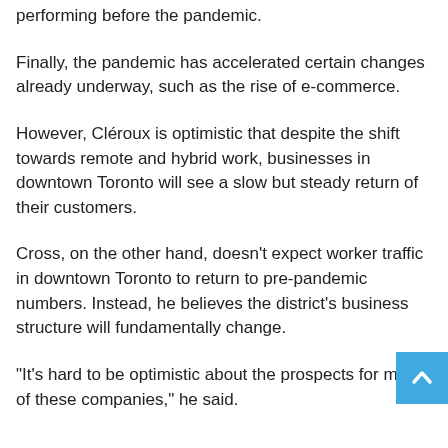performing before the pandemic.
Finally, the pandemic has accelerated certain changes already underway, such as the rise of e-commerce.
However, Cléroux is optimistic that despite the shift towards remote and hybrid work, businesses in downtown Toronto will see a slow but steady return of their customers.
Cross, on the other hand, doesn't expect worker traffic in downtown Toronto to return to pre-pandemic numbers. Instead, he believes the district's business structure will fundamentally change.
“It's hard to be optimistic about the prospects for many of these companies,” he said.